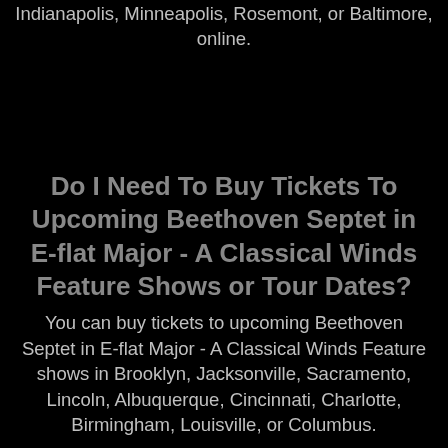Indianapolis, Minneapolis, Rosemont, or Baltimore, online.
Do I Need To Buy Tickets To Upcoming Beethoven Septet in E-flat Major - A Classical Winds Feature Shows or Tour Dates?
You can buy tickets to upcoming Beethoven Septet in E-flat Major - A Classical Winds Feature shows in Brooklyn, Jacksonville, Sacramento, Lincoln, Albuquerque, Cincinnati, Charlotte, Birmingham, Louisville, or Columbus.